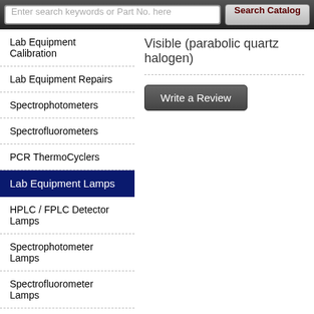Enter search keywords or Part No. here | Search Catalog
Lab Equipment Calibration
Lab Equipment Repairs
Spectrophotometers
Spectrofluorometers
PCR ThermoCyclers
Lab Equipment Lamps
HPLC / FPLC Detector Lamps
Spectrophotometer Lamps
Spectrofluorometer Lamps
Micro Plate Reader Lamps
Misc. Beckman Lamps
Cuvettes
Spectrophotometer
Visible (parabolic quartz halogen)
Write a Review